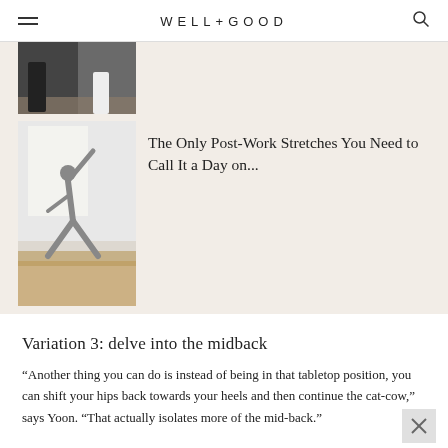WELL+GOOD
[Figure (photo): Partial image of person doing yoga/stretching on a wooden floor, cropped at top]
[Figure (photo): Person doing a yoga lunge stretch with arm raised, in a bright studio with wooden floors]
The Only Post-Work Stretches You Need to Call It a Day on...
Variation 3: delve into the midback
“Another thing you can do is instead of being in that tabletop position, you can shift your hips back towards your heels and then continue the cat-cow,” says Yoon. “That actually isolates more of the mid-back.”